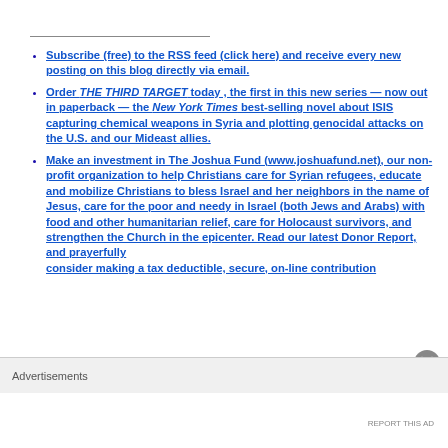Subscribe (free) to the RSS feed (click here) and receive every new posting on this blog directly via email.
Order THE THIRD TARGET today , the first in this new series — now out in paperback — the New York Times best-selling novel about ISIS capturing chemical weapons in Syria and plotting genocidal attacks on the U.S. and our Mideast allies.
Make an investment in The Joshua Fund (www.joshuafund.net), our non-profit organization to help Christians care for Syrian refugees, educate and mobilize Christians to bless Israel and her neighbors in the name of Jesus, care for the poor and needy in Israel (both Jews and Arabs) with food and other humanitarian relief, care for Holocaust survivors, and strengthen the Church in the epicenter. Read our latest Donor Report, and prayerfully consider making a tax deductible, secure, on-line contribution
Advertisements